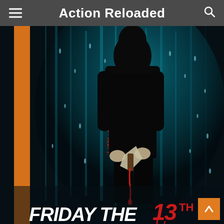Action Reloaded
[Figure (photo): Movie DVD/Blu-ray cover art for Friday the 13th Part 3. Shows a dark silhouette of a large figure (Jason) holding a machete dripping blood, set against a teal/blue glowing curtain-like background with rain droplets. The spine of the case shows 'FRIDAY THE 13TH PART 3' in orange vertical text. At the bottom, large stylized white and red text reads 'FRIDAY THE 13TH' with '13' in a dripping red horror font.]